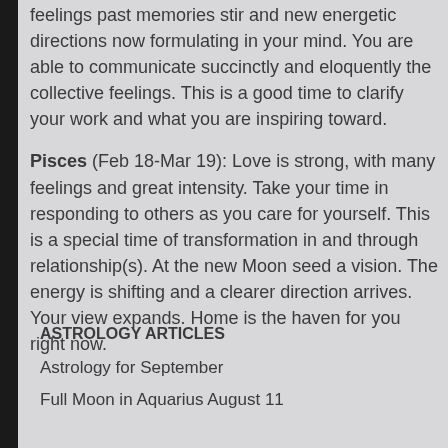feelings past memories stir and new energetic directions now formulating in your mind. You are able to communicate succinctly and eloquently the collective feelings. This is a good time to clarify your work and what you are inspiring toward.
Pisces (Feb 18-Mar 19): Love is strong, with many feelings and great intensity. Take your time in responding to others as you care for yourself. This is a special time of transformation in and through relationship(s). At the new Moon seed a vision. The energy is shifting and a clearer direction arrives. Your view expands. Home is the haven for you right now.
ASTROLOGY ARTICLES
Astrology for September
Full Moon in Aquarius August 11